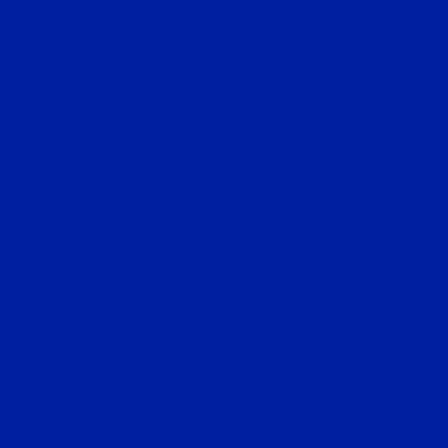After the Epsom Derby dust has settled, the attention shifts to the Prix du Jockey Club (French De...
Jean-Claude Rouget has a handful of runners in the race, including Al Hakeem. The weather looks perf...
Reply
Lynda King says: June 4, 2022 at 3:45 am
Davids, I have seen photos. Lo...
Reply
Steve Haskin says: June 4, 2022 at 10:49 am
We were there in the morning... deer on the racecourse is a... owner, who believed he wa... human.
Reply
Steve Haskin says: June 4, 2022 at 10:58
The track is built on th... the track are all the... steeplechase, wood ch...